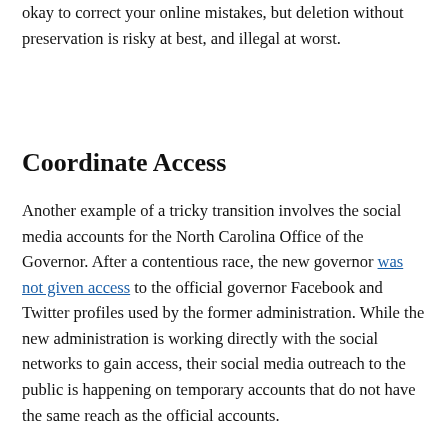okay to correct your online mistakes, but deletion without preservation is risky at best, and illegal at worst.
Coordinate Access
Another example of a tricky transition involves the social media accounts for the North Carolina Office of the Governor. After a contentious race, the new governor was not given access to the official governor Facebook and Twitter profiles used by the former administration. While the new administration is working directly with the social networks to gain access, their social media outreach to the public is happening on temporary accounts that do not have the same reach as the official accounts.